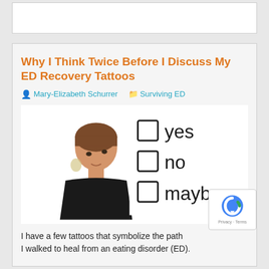Why I Think Twice Before I Discuss My ED Recovery Tattoos
Mary-Elizabeth Schurrer   Surviving ED
[Figure (photo): Woman looking up thoughtfully with finger on chin, next to a checklist with checkbox options: yes, no, maybe. Watermark reads HEALTHYPLACE.]
I have a few tattoos that symbolize the path I walked to heal from an eating disorder (ED).